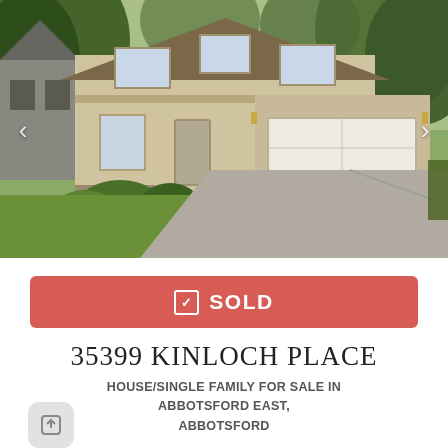[Figure (photo): Exterior photo of a two-storey residential house with beige/tan siding, double garage with white door, concrete driveway, green lawn with shrubs and trees in background. Navigation arrows on left and right sides of the photo.]
✓ SOLD
35399 KINLOCH PLACE
HOUSE/SINGLE FAMILY FOR SALE IN ABBOTSFORD EAST, ABBOTSFORD